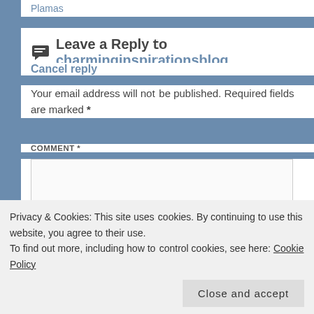Plamas
Leave a Reply to charminginspirationsblog
Cancel reply
Your email address will not be published. Required fields are marked *
COMMENT *
Privacy & Cookies: This site uses cookies. By continuing to use this website, you agree to their use.
To find out more, including how to control cookies, see here: Cookie Policy
Close and accept